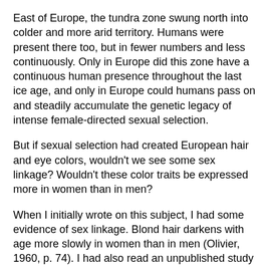East of Europe, the tundra zone swung north into colder and more arid territory. Humans were present there too, but in fewer numbers and less continuously. Only in Europe did this zone have a continuous human presence throughout the last ice age, and only in Europe could humans pass on and steadily accumulate the genetic legacy of intense female-directed sexual selection.
But if sexual selection had created European hair and eye colors, wouldn't we see some sex linkage? Wouldn't these color traits be expressed more in women than in men?
When I initially wrote on this subject, I had some evidence of sex linkage. Blond hair darkens with age more slowly in women than in men (Olivier, 1960, p. 74). I had also read an unpublished study that found higher digit ratios, and thus higher prenatal exposure to estrogen, in individuals with blond hair or non-brown eyes (Mather et al., unpublished).
But that was it. So I fell back on the explanation that sex linkage would have taken too long to evolve, especially